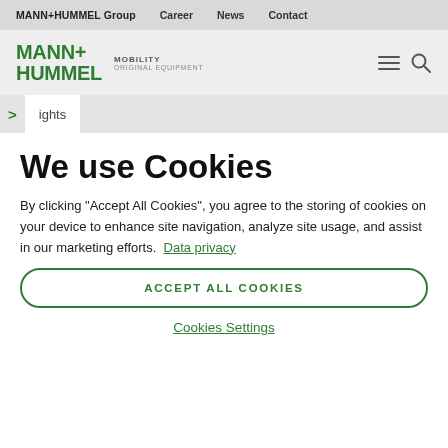MANN+HUMMEL Group   Career   News   Contact
[Figure (logo): MANN+HUMMEL logo with MOBILITY ORIGINAL EQUIPMENT tagline, hamburger menu icon and search icon]
ights
We use Cookies
By clicking “Accept All Cookies”, you agree to the storing of cookies on your device to enhance site navigation, analyze site usage, and assist in our marketing efforts. Data privacy
ACCEPT ALL COOKIES
Cookies Settings